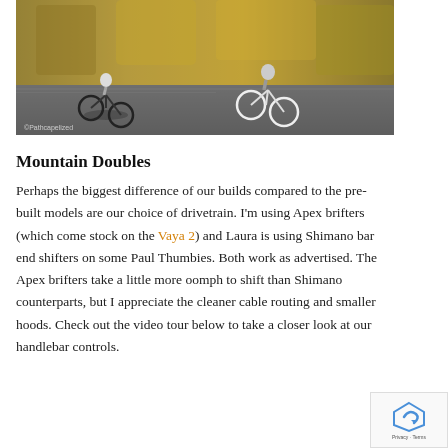[Figure (photo): Two cyclists riding on a road with autumn foliage in the background, motion blur effect. A watermark reads ©Pathcapelized at bottom left.]
Mountain Doubles
Perhaps the biggest difference of our builds compared to the pre-built models are our choice of drivetrain. I'm using Apex brifters (which come stock on the Vaya 2) and Laura is using Shimano bar end shifters on some Paul Thumbies. Both work as advertised. The Apex brifters take a little more oomph to shift than Shimano counterparts, but I appreciate the cleaner cable routing and smaller hoods. Check out the video tour below to take a closer look at our handlebar controls.